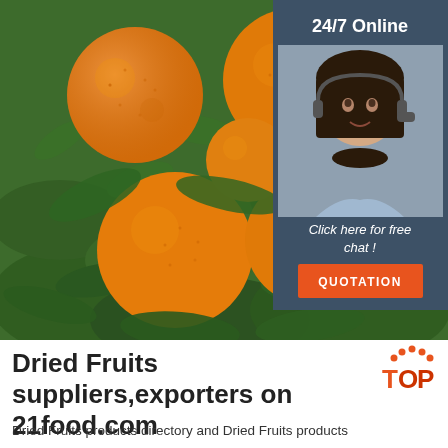[Figure (photo): Photo of oranges hanging on a tree with green leaves, close-up view. On the right side, a dark blue-grey sidebar panel shows '24/7 Online' text at top, a photo of a smiling female customer service agent wearing a headset, italic text 'Click here for free chat!', and an orange 'QUOTATION' button below.]
[Figure (logo): Orange and red 'TOP' badge logo with decorative dots in the top-right corner of the title area]
Dried Fruits suppliers,exporters on 21food.com
Dried Fruits products directory and Dried Fruits products